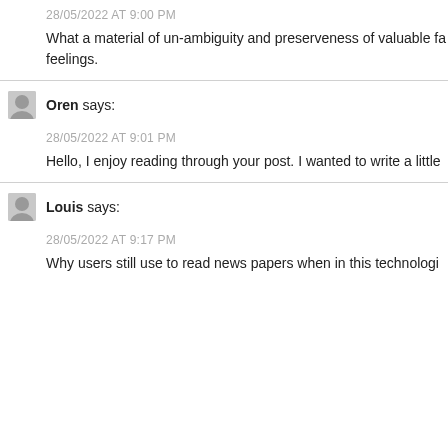28/05/2022 AT 9:00 PM
What a material of un-ambiguity and preserveness of valuable fa feelings.
Oren says:
28/05/2022 AT 9:01 PM
Hello, I enjoy reading through your post. I wanted to write a little
Louis says:
28/05/2022 AT 9:17 PM
Why users still use to read news papers when in this technologi